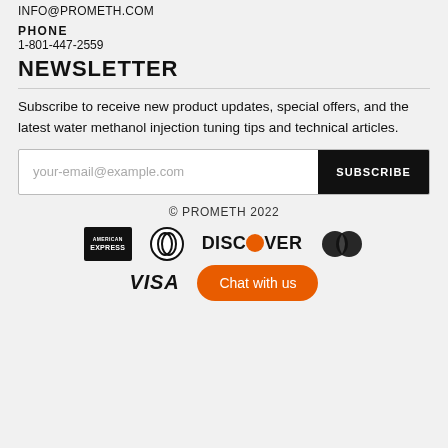INFO@PROMETH.COM
PHONE
1-801-447-2559
NEWSLETTER
Subscribe to receive new product updates, special offers, and the latest water methanol injection tuning tips and technical articles.
your-email@example.com  [SUBSCRIBE button]
© PROMETH 2022
[Figure (logo): Payment method logos: American Express, Diners Club, Discover, Mastercard]
[Figure (logo): VISA logo and orange Chat with us button]